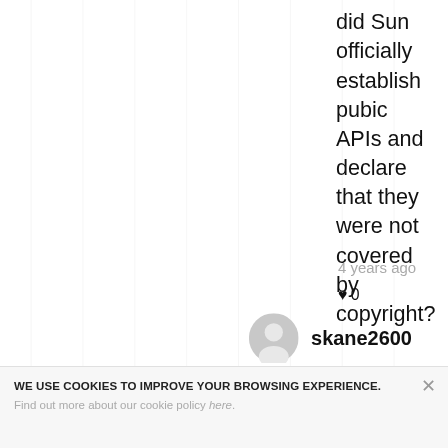did Sun officially establish pubic APIs and declare that they were not covered by copyright?
4 years ago
♥ 0
skane2600
I didn't say
WE USE COOKIES TO IMPROVE YOUR BROWSING EXPERIENCE.
Find out more about our cookie policy here.